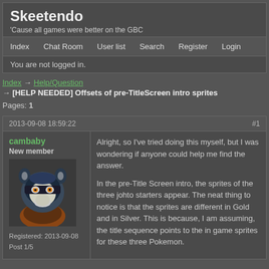Skeetendo
'Cause all games were better on the GBC
Index   Chat Room   User list   Search   Register   Login
You are not logged in.
Index → Help/Question → [HELP NEEDED] Offsets of pre-TitleScreen intro sprites
Pages: 1
2013-09-08 18:59:22   #1
cambaby
New member
Registered: 2013-09-08
Post 1/5
Alright, so I've tried doing this myself, but I was wondering if anyone could help me find the answer.

In the pre-Title Screen intro, the sprites of the three johto starters appear. The neat thing to notice is that the sprites are different in Gold and in Silver. This is because, I am assuming, the title sequence points to the in game sprites for these three Pokemon.